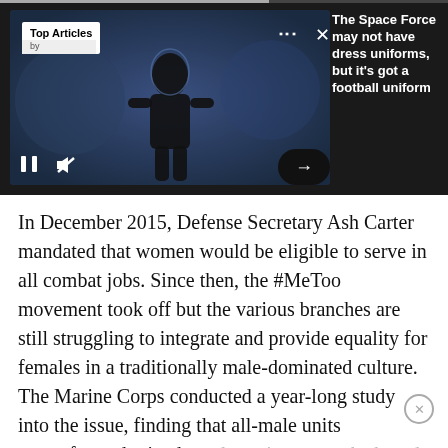[Figure (screenshot): Video/ad banner with United States Space Force branding, showing a dark image with a football player silhouette, 'Top Articles' badge, media controls (pause, mute), navigation arrow, and article headline on the right.]
The Space Force may not have dress uniforms, but it's got a football uniform
In December 2015, Defense Secretary Ash Carter mandated that women would be eligible to serve in all combat jobs. Since then, the #MeToo movement took off but the various branches are still struggling to integrate and provide equality for females in a traditionally male-dominated culture. The Marine Corps conducted a year-long study into the issue, finding that all-male units outperformed mixed gender units across the board. Further complicating the issue, President Trump recently banned